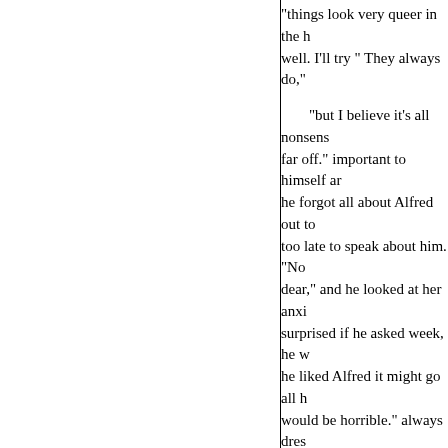"things look very queer in the h well. I'll try " They always do,"
"but I believe it's all nonsens far off." important to himself ar he forgot all about Alfred out to too late to speak about him. “No dear," and he looked at her anxi surprised if he asked week, he w he liked Alfred it might go all h would be horrible." always dres the evening and laid himself ou
She looked at him for a mom
XIII.
same